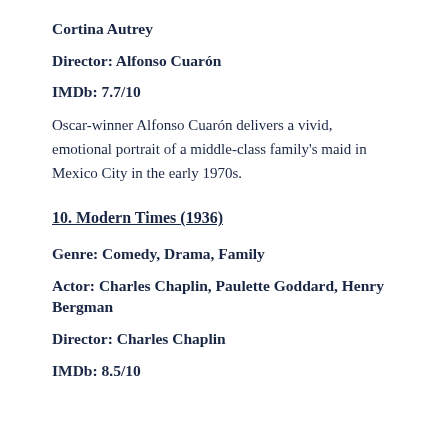Cortina Autrey
Director: Alfonso Cuarón
IMDb: 7.7/10
Oscar-winner Alfonso Cuarón delivers a vivid, emotional portrait of a middle-class family's maid in Mexico City in the early 1970s.
10. Modern Times (1936)
Genre: Comedy, Drama, Family
Actor: Charles Chaplin, Paulette Goddard, Henry Bergman
Director: Charles Chaplin
IMDb: 8.5/10